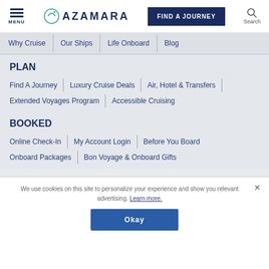MENU | AZAMARA | FIND A JOURNEY | Search
Why Cruise
Our Ships
Life Onboard
Blog
PLAN
Find A Journey
Luxury Cruise Deals
Air, Hotel & Transfers
Extended Voyages Program
Accessible Cruising
BOOKED
Online Check-In
My Account Login
Before You Board
Onboard Packages
Bon Voyage & Onboard Gifts
We use cookies on this site to personalize your experience and show you relevant advertising. Learn more.
Okay